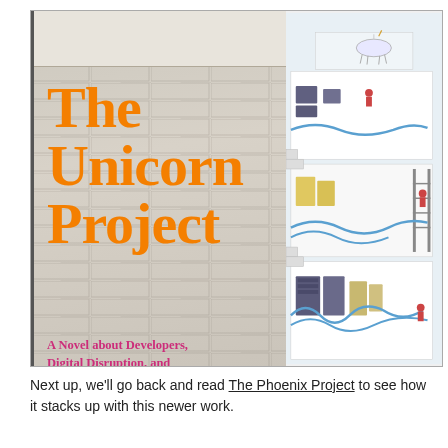[Figure (illustration): Book cover of 'The Unicorn Project' by Gene Kim. Features an orange serif title on a brick wall background on the left, with an isometric pixel-art illustration of a multi-floor office/data center building on the right. The subtitle reads 'A Novel about Developers, Digital Disruption, and Thriving in the Age of Data'. Author line: Gene Kim, Author of The Phoenix Project.]
Next up, we'll go back and read The Phoenix Project to see how it stacks up with this newer work.